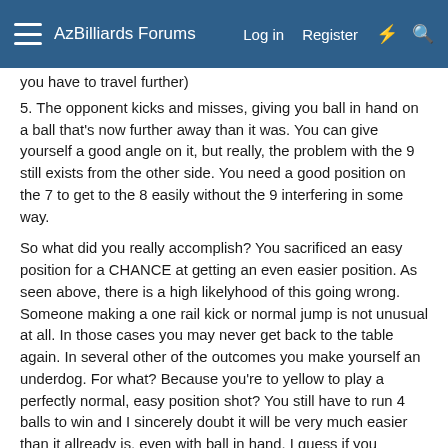AzBilliards Forums   Log in   Register
you have to travel further)
5. The opponent kicks and misses, giving you ball in hand on a ball that's now further away than it was. You can give yourself a good angle on it, but really, the problem with the 9 still exists from the other side. You need a good position on the 7 to get to the 8 easily without the 9 interfering in some way.
So what did you really accomplish? You sacrificed an easy position for a CHANCE at getting an even easier position. As seen above, there is a high likelyhood of this going wrong. Someone making a one rail kick or normal jump is not unusual at all. In those cases you may never get back to the table again. In several other of the outcomes you make yourself an underdog. For what? Because you're to yellow to play a perfectly normal, easy position shot? You still have to run 4 balls to win and I sincerely doubt it will be very much easier than it allready is, even with ball in hand. I guess if you snooker the person, leaving the 6 close to the 7 and still prevent him from hitting it, you could make it easier?